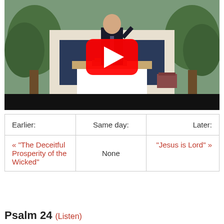[Figure (screenshot): YouTube video thumbnail showing a preacher/minister in a dark suit at a white pulpit, with green plants in the background. A large red YouTube play button is overlaid in the center.]
| Earlier: | Same day: | Later: |
| --- | --- | --- |
| « "The Deceitful Prosperity of the Wicked" | None | "Jesus is Lord" » |
Psalm 24 (Listen)